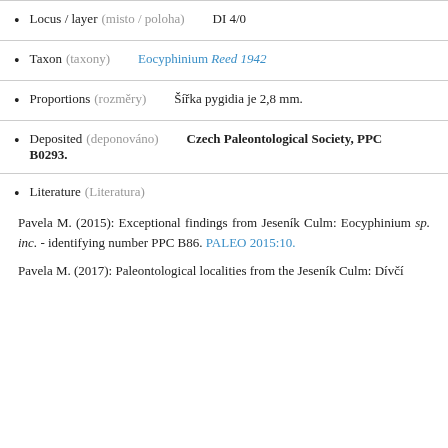Locus / layer (misto / poloha)   DI 4/0
Taxon (taxony)   Eocyphinium Reed 1942
Proportions (rozměry)   Šířka pygidia je 2,8 mm.
Deposited (deponováno)   Czech Paleontological Society, PPC B0293.
Literature (Literatura)
Pavela M. (2015): Exceptional findings from Jeseník Culm: Eocyphinium sp. inc. - identifying number PPC B86. PALEO 2015:10.
Pavela M. (2017): Paleontological localities from the Jeseník Culm: Dívčí